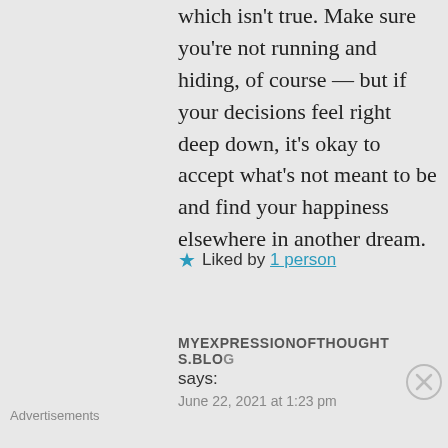which isn't true. Make sure you're not running and hiding, of course — but if your decisions feel right deep down, it's okay to accept what's not meant to be and find your happiness elsewhere in another dream.
★ Liked by 1 person
MYEXPRESSIONOFTHOUGHTS.BLO says:
June 22, 2021 at 1:23 pm
Advertisements